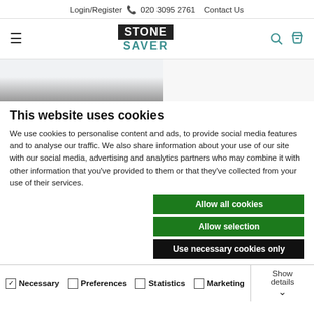Login/Register  020 3095 2761  Contact Us
[Figure (logo): Stone Saver logo with hamburger menu, search and basket icons in navigation bar]
[Figure (photo): Partial product image area, light grey and dark grey background]
This website uses cookies
We use cookies to personalise content and ads, to provide social media features and to analyse our traffic. We also share information about your use of our site with our social media, advertising and analytics partners who may combine it with other information that you've provided to them or that they've collected from your use of their services.
Allow all cookies
Allow selection
Use necessary cookies only
Necessary  Preferences  Statistics  Marketing  Show details